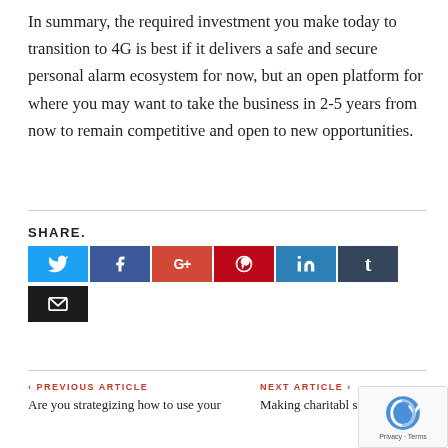In summary, the required investment you make today to transition to 4G is best if it delivers a safe and secure personal alarm ecosystem for now, but an open platform for where you may want to take the business in 2-5 years from now to remain competitive and open to new opportunities.
SHARE.
[Figure (infographic): Social sharing buttons: Twitter (blue), Facebook (dark blue), Google+ (red-orange), Pinterest (dark red), LinkedIn (teal-blue), Tumblr (dark slate), Email (dark/black)]
PREVIOUS ARTICLE
Are you strategizing how to use your
NEXT ARTICLE
Making charitable sector mergers